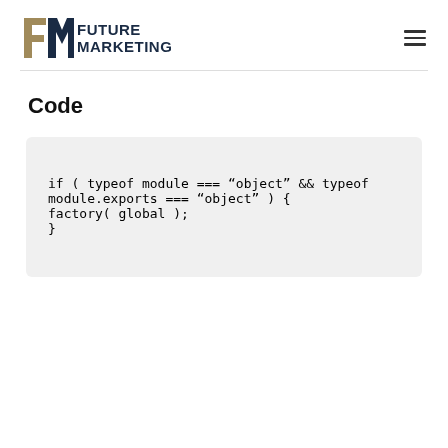Future Marketing logo and navigation
Code
if ( typeof module === "object" && typeof module.exports === "object" ) {
factory( global );
}